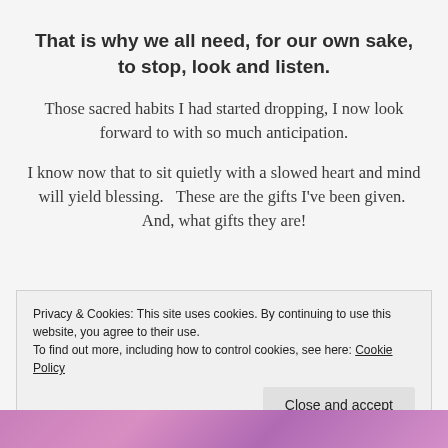That is why we all need, for our own sake, to stop, look and listen.
Those sacred habits I had started dropping, I now look forward to with so much anticipation.
I know now that to sit quietly with a slowed heart and mind will yield blessing.   These are the gifts I've been given.  And, what gifts they are!
Privacy & Cookies: This site uses cookies. By continuing to use this website, you agree to their use.
To find out more, including how to control cookies, see here: Cookie Policy
[Figure (photo): Purple/pink abstract background image strip at the bottom of the page]